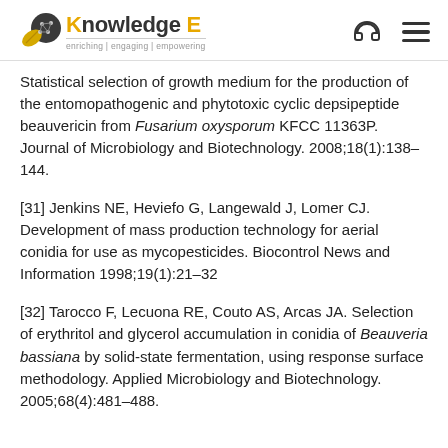Knowledge E — enriching | engaging | empowering
Statistical selection of growth medium for the production of the entomopathogenic and phytotoxic cyclic depsipeptide beauvericin from Fusarium oxysporum KFCC 11363P. Journal of Microbiology and Biotechnology. 2008;18(1):138–144.
[31] Jenkins NE, Heviefo G, Langewald J, Lomer CJ. Development of mass production technology for aerial conidia for use as mycopesticides. Biocontrol News and Information 1998;19(1):21–32
[32] Tarocco F, Lecuona RE, Couto AS, Arcas JA. Selection of erythritol and glycerol accumulation in conidia of Beauveria bassiana by solid-state fermentation, using response surface methodology. Applied Microbiology and Biotechnology. 2005;68(4):481–488.